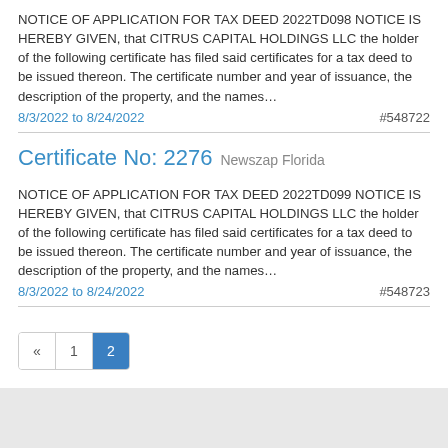NOTICE OF APPLICATION FOR TAX DEED 2022TD098 NOTICE IS HEREBY GIVEN, that CITRUS CAPITAL HOLDINGS LLC the holder of the following certificate has filed said certificates for a tax deed to be issued thereon. The certificate number and year of issuance, the description of the property, and the names…
8/3/2022 to 8/24/2022  #548722
Certificate No: 2276  Newszap Florida
NOTICE OF APPLICATION FOR TAX DEED 2022TD099 NOTICE IS HEREBY GIVEN, that CITRUS CAPITAL HOLDINGS LLC the holder of the following certificate has filed said certificates for a tax deed to be issued thereon. The certificate number and year of issuance, the description of the property, and the names…
8/3/2022 to 8/24/2022  #548723